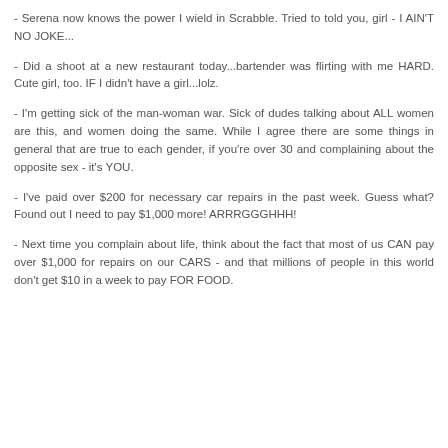- Serena now knows the power I wield in Scrabble. Tried to told you, girl - I AIN'T NO JOKE...
- Did a shoot at a new restaurant today...bartender was flirting with me HARD. Cute girl, too. IF I didn't have a girl...lolz.
- I'm getting sick of the man-woman war. Sick of dudes talking about ALL women are this, and women doing the same. While I agree there are some things in general that are true to each gender, if you're over 30 and complaining about the opposite sex - it's YOU.
- I've paid over $200 for necessary car repairs in the past week. Guess what? Found out I need to pay $1,000 more! ARRRGGGHHH!
- Next time you complain about life, think about the fact that most of us CAN pay over $1,000 for repairs on our CARS - and that millions of people in this world don't get $10 in a week to pay FOR FOOD.